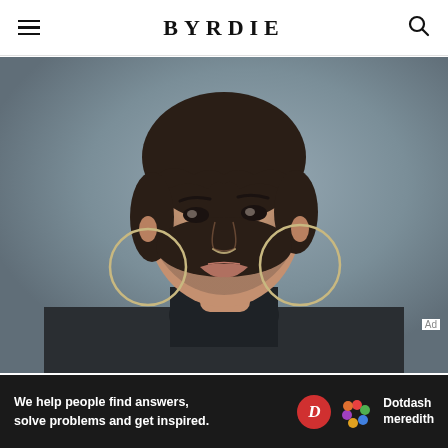BYRDIE
[Figure (photo): Portrait of a young woman with short dark hair and bangs, wearing large gold hoop earrings and a dark jacket, photographed against a grey background.]
[Figure (infographic): Advertisement banner: 'We help people find answers, solve problems and get inspired.' with Dotdash Meredith logo.]